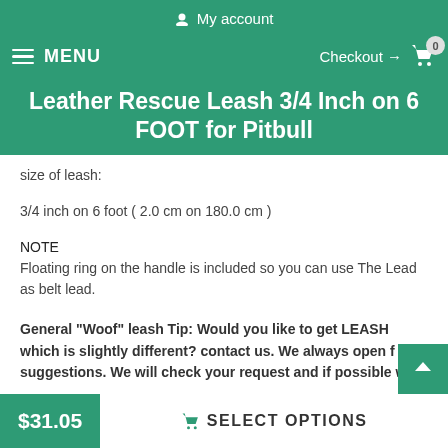My account
MENU  Checkout → 0
Leather Rescue Leash 3/4 Inch on 6 FOOT for Pitbull
size of leash:
3/4 inch on 6 foot ( 2.0 cm on 180.0 cm )
NOTE
Floating ring on the handle is included so you can use The Lead as belt lead.
General "Woof" leash  Tip: Would you like to get LEASH which is slightly different? contact us. We always open for suggestions. We will check your request and if possible will
$31.05  SELECT OPTIONS